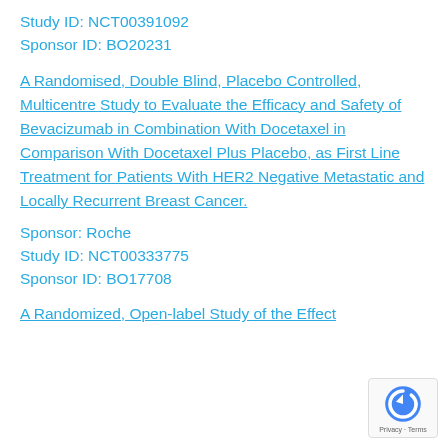Study ID: NCT00391092
Sponsor ID: BO20231
A Randomised, Double Blind, Placebo Controlled, Multicentre Study to Evaluate the Efficacy and Safety of Bevacizumab in Combination With Docetaxel in Comparison With Docetaxel Plus Placebo, as First Line Treatment for Patients With HER2 Negative Metastatic and Locally Recurrent Breast Cancer.
Sponsor: Roche
Study ID: NCT00333775
Sponsor ID: BO17708
A Randomized, Open-label Study of the Effect